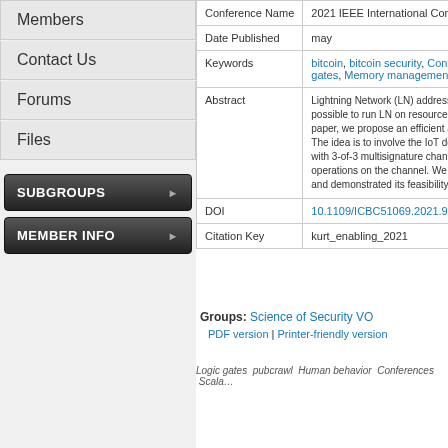Members
Contact Us
Forums
Files
SUBGROUPS ▶
MEMBER INFO ▶
| Field | Value |
| --- | --- |
| Conference Name | 2021 IEEE International Confere… |
| Date Published | may |
| Keywords | bitcoin, bitcoin security, Confere… gates, Memory management, Pr… |
| Abstract | Lightning Network (LN) addresse… possible to run LN on resource-c… paper, we propose an efficient ar… The idea is to involve the IoT dev… with 3-of-3 multisignature channe… operations on the channel. We e… and demonstrated its feasibility a… |
| DOI | 10.1109/ICBC51069.2021.94610… |
| Citation Key | kurt_enabling_2021 |
Groups: Science of Security VO
PDF version | Printer-friendly version
Logic gates pubcrawl Human behavior Conferences Scala…